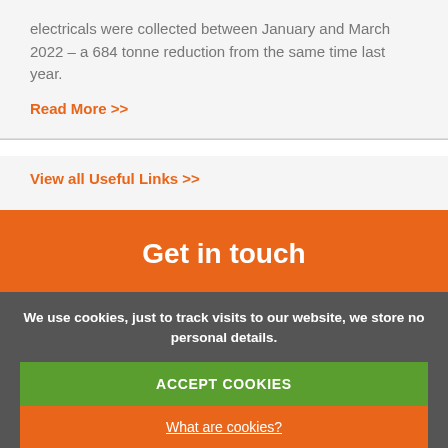electricals were collected between January and March 2022 – a 684 tonne reduction from the same time last year.
Read More >>
View all Useful Links >>
Get in touch
First name
We use cookies, just to track visits to our website, we store no personal details.
ACCEPT COOKIES
What are cookies?